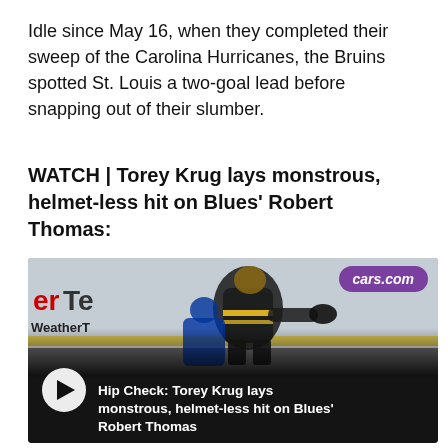Idle since May 16, when they completed their sweep of the Carolina Hurricanes, the Bruins spotted St. Louis a two-goal lead before snapping out of their slumber.
WATCH | Torey Krug lays monstrous, helmet-less hit on Blues' Robert Thomas:
[Figure (screenshot): Video thumbnail showing a hockey player in a Boston Bruins black and yellow jersey laying a hip check on a Blues player on the ice. Arena boards visible with cars.com, erTe, and WeatherTech sponsor logos. Video overlay shows play button and title: 'Hip Check: Torey Krug lays monstrous, helmet-less hit on Blues' Robert Thomas'. Duration: 1:18. Timestamp: 3 years ago.]